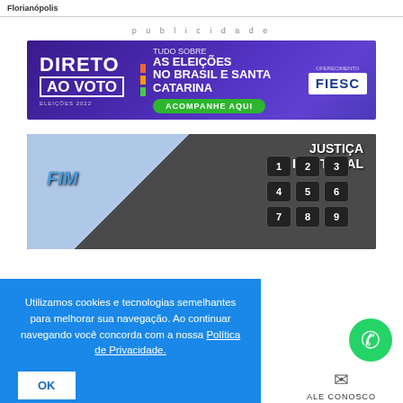Florianópolis
publicidade
[Figure (screenshot): DIRETO AO VOTO - ELEIÇÕES 2022 advertisement banner. Text: TUDO SOBRE AS ELEIÇÕES NO BRASIL E SANTA CATARINA. ACOMPANHE AQUI. Oferecimento: FIESC.]
[Figure (photo): Close-up photo of an electronic voting machine (urna eletrônica) keyboard with number keys 1-9 and JUSTIÇA ELEITORAL label visible.]
Utilizamos cookies e tecnologias semelhantes para melhorar sua navegação. Ao continuar navegando você concorda com a nossa Política de Privacidade.
OK
[Figure (logo): WhatsApp green circle icon]
ALE CONOSCO